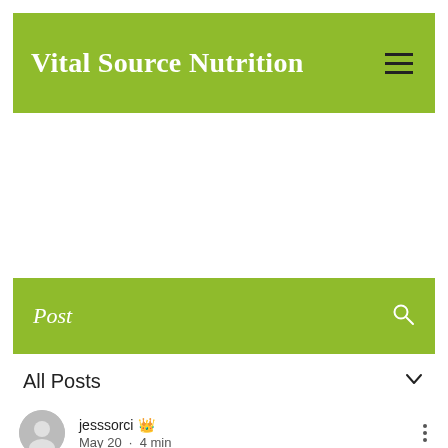Vital Source Nutrition
Post
All Posts
jesssorci  May 20 · 4 min